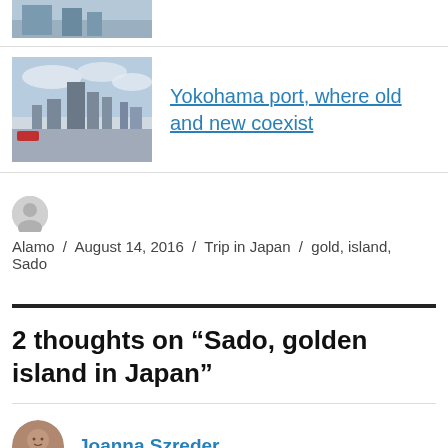[Figure (photo): Partial thumbnail image at top, partially visible]
[Figure (photo): Thumbnail of Yokohama port cityscape with tall buildings under cloudy sky]
Yokohama port, where old and new coexist
Alamo / August 14, 2016 / Trip in Japan / gold, island, Sado
2 thoughts on “Sado, golden island in Japan”
[Figure (photo): Small circular avatar photo of Joanna Szreder]
Joanna Szreder
August 17, 2016 at 11:36 PM